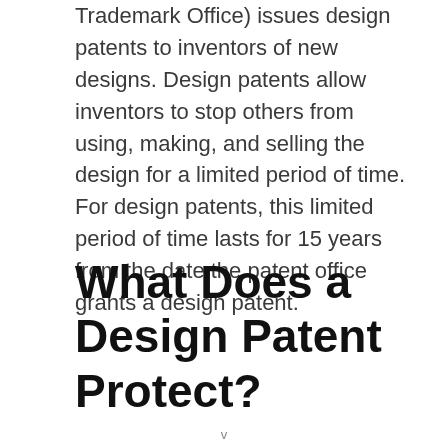Trademark Office) issues design patents to inventors of new designs. Design patents allow inventors to stop others from using, making, and selling the design for a limited period of time. For design patents, this limited period of time lasts for 15 years from the date the patent office grants a design patent.
What Does a Design Patent Protect?
v